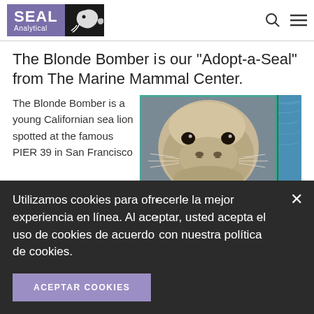SEAL Analytical
The Blonde Bomber is our "Adopt-a-Seal" from The Marine Mammal Center.
The Blonde Bomber is a young Californian sea lion spotted at the famous PIER 39 in San Francisco
[Figure (photo): Close-up photo of a California sea lion face with a Marine Mammal Center watermark on the right side showing water background]
Utilizamos cookies para ofrecerle la mejor experiencia en línea. Al aceptar, usted acepta el uso de cookies de acuerdo con nuestra política de cookies.
ACEPTAR COOKIES